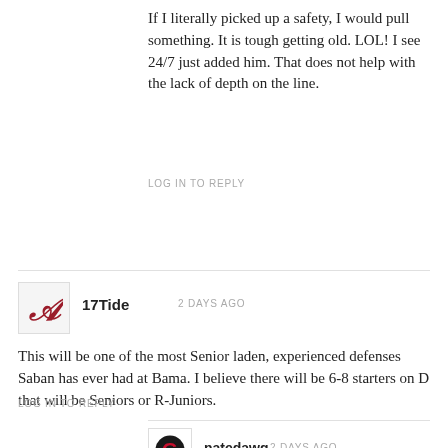If I literally picked up a safety, I would pull something. It is tough getting old. LOL! I see 24/7 just added him. That does not help with the lack of depth on the line.
LOG IN TO REPLY
17Tide   2 DAYS AGO
This will be one of the most Senior laden, experienced defenses Saban has ever had at Bama. I believe there will be 6-8 starters on D that will be Seniors or R-Juniors.
LOG IN TO REPLY
natedawg   2 DAYS AGO
That's because of the regression of talent on that side of the ball, having players stay around longer to